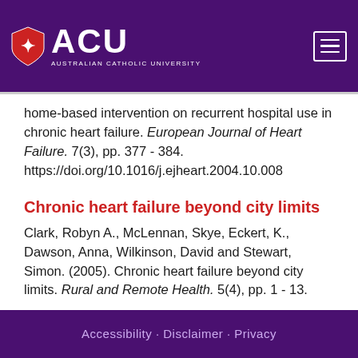[Figure (logo): ACU Australian Catholic University logo with shield icon, white text on purple background, with hamburger menu button]
home-based intervention on recurrent hospital use in chronic heart failure. European Journal of Heart Failure. 7(3), pp. 377 - 384. https://doi.org/10.1016/j.ejheart.2004.10.008
Chronic heart failure beyond city limits
Clark, Robyn A., McLennan, Skye, Eckert, K., Dawson, Anna, Wilkinson, David and Stewart, Simon. (2005). Chronic heart failure beyond city limits. Rural and Remote Health. 5(4), pp. 1 - 13.
Accessibility · Disclaimer · Privacy